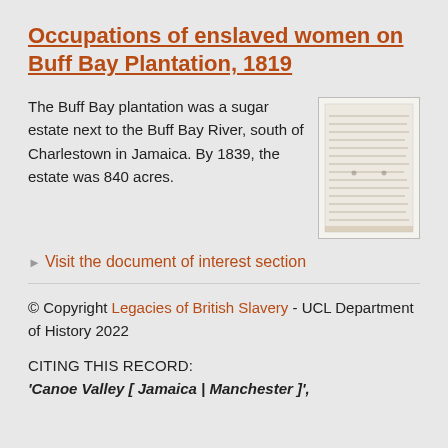Occupations of enslaved women on Buff Bay Plantation, 1819
The Buff Bay plantation was a sugar estate next to the Buff Bay River, south of Charlestown in Jamaica. By 1839, the estate was 840 acres.
[Figure (photo): Photograph of a handwritten historical document, showing lined text in aged ink on yellowed paper.]
▸ Visit the document of interest section
© Copyright Legacies of British Slavery - UCL Department of History 2022
CITING THIS RECORD:
'Canoe Valley [ Jamaica | Manchester ]',